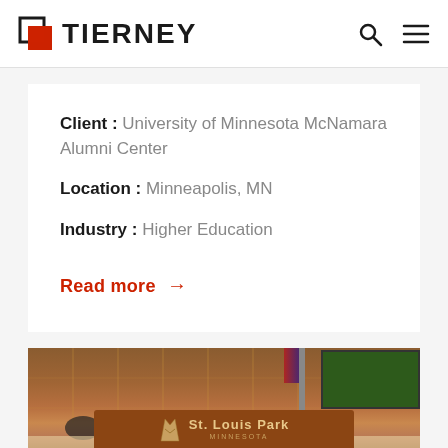[Figure (logo): Tierney company logo with red overlapping squares icon and bold TIERNEY wordmark, plus search and hamburger menu icons on the right]
Client : University of Minnesota McNamara Alumni Center
Location : Minneapolis, MN
Industry : Higher Education
Read more →
[Figure (photo): Interior photo of a council chamber with curved wooden desk, black office chairs with microphones, wood panel walls, a TV screen showing a nature scene in the upper right, and a St. Louis Park Minnesota sign on the curved front desk]